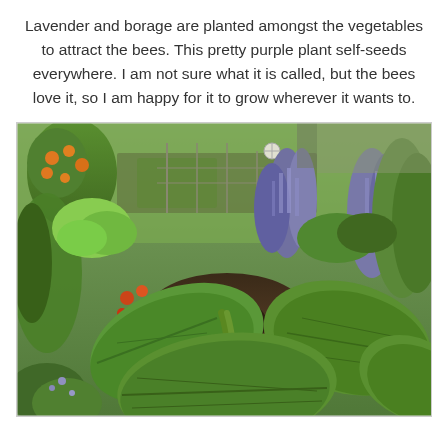Lavender and borage are planted amongst the vegetables to attract the bees. This pretty purple plant self-seeds everywhere. I am not sure what it is called, but the bees love it, so I am happy for it to grow wherever it wants to.
[Figure (photo): A lush garden photo showing large-leafed squash or pumpkin plants in the foreground with lavender/borage purple flowering plants in the middle, green leafy vegetables, an orange/citrus tree on the left, and garden beds with various herbs and vegetables in the background.]